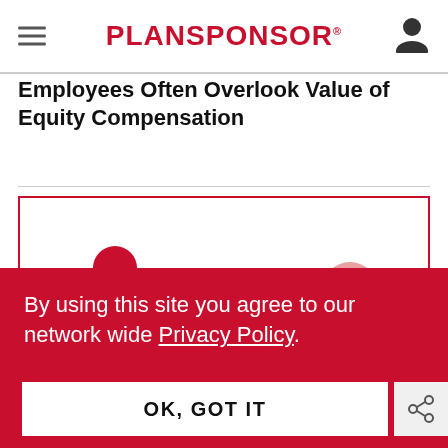PLANSPONSOR
Employees Often Overlook Value of Equity Compensation
[Figure (illustration): Illustration showing two cartoon figures in red: a woman holding a heart with a medical cross symbol, and a man holding a clock, with a smaller figure in the center, all in a red and light-red color scheme]
By using this site you agree to our network wide Privacy Policy.
OK, GOT IT